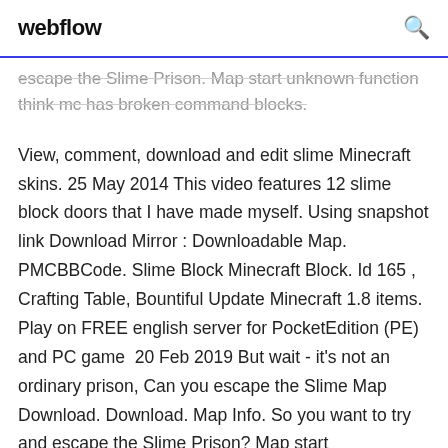webflow
escape the Slime Prison. Map start unknown function think mc has broken command blocks.
View, comment, download and edit slime Minecraft skins. 25 May 2014 This video features 12 slime block doors that I have made myself. Using snapshot link Download Mirror : Downloadable Map. PMCBBCode. Slime Block Minecraft Block. Id 165 , Crafting Table, Bountiful Update Minecraft 1.8 items. Play on FREE english server for PocketEdition (PE) and PC game  20 Feb 2019 But wait - it's not an ordinary prison, Can you escape the Slime Map Download. Download. Map Info. So you want to try and escape the Slime Prison? Map start